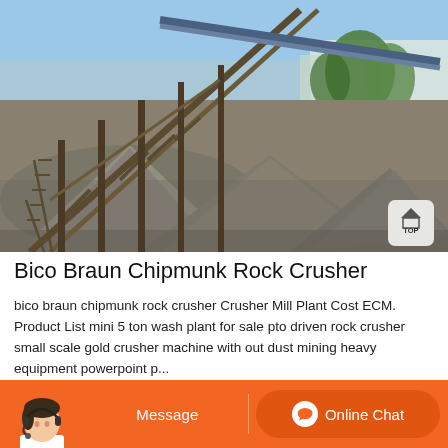[Figure (photo): Industrial rock crushing plant with conveyor belts and large metal support structures. Multiple piles of crushed gray gravel/aggregate in the foreground. Trees and sky visible in background. A 'TOP' navigation button visible in bottom-right corner of image.]
Bico Braun Chipmunk Rock Crusher
bico braun chipmunk rock crusher Crusher Mill Plant Cost ECM. Product List mini 5 ton wash plant for sale pto driven rock crusher small scale gold crusher machine with out dust mining heavy equipment powerpoint p...